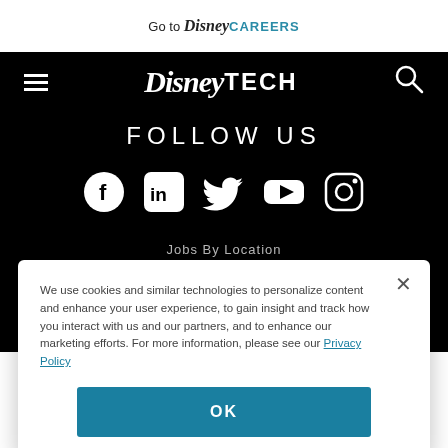Go to DisneyCAREERS
[Figure (screenshot): DisneyTech website navigation bar with hamburger menu, Disney Tech logo in white on black background, and search icon]
FOLLOW US
[Figure (illustration): Social media icons: Facebook, LinkedIn, Twitter, YouTube, Instagram — white icons on black background]
Jobs By Location
We use cookies and similar technologies to personalize content and enhance your user experience, to gain insight and track how you interact with us and our partners, and to enhance our marketing efforts. For more information, please see our Privacy Policy
OK